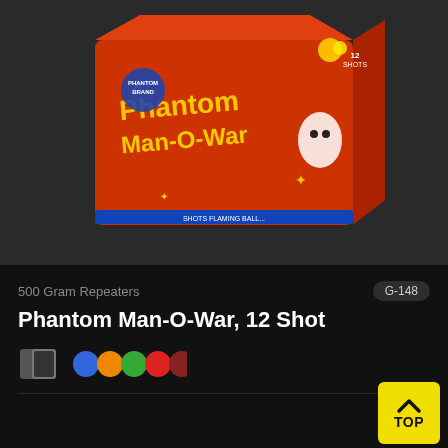[Figure (photo): Product photo of Phantom Man-O-War 12 Shot 500 Gram Repeater firework box on dark background]
500 Gram Repeaters
G-148
Phantom Man-O-War, 12 Shot
[Figure (illustration): Color swatch palette icon and five colored circle icons (blue, orange, green, red, dark red) indicating available effects/colors]
$199.99
Add to Favorites